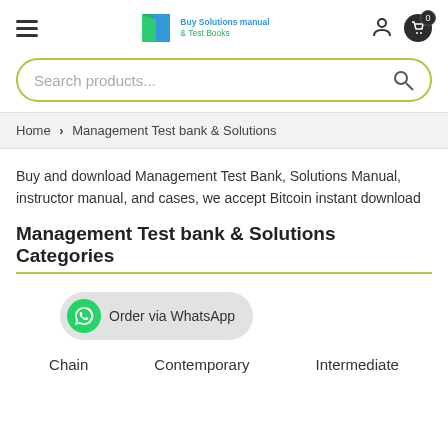Buy Solutions manual & Test Banks | user icon | cart 0
Search products...
Home > Management Test bank & Solutions
Buy and download Management Test Bank, Solutions Manual, instructor manual, and cases, we accept Bitcoin instant download
Management Test bank & Solutions Categories
Order via WhatsApp
Chain  Contemporary  Intermediate